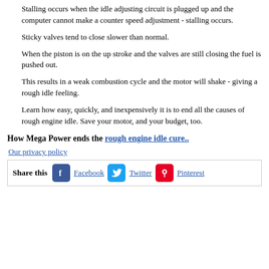Stalling occurs when the idle adjusting circuit is plugged up and the computer cannot make a counter speed adjustment - stalling occurs.
Sticky valves tend to close slower than normal.
When the piston is on the up stroke and the valves are still closing the fuel is pushed out.
This results in a weak combustion cycle and the motor will shake - giving a rough idle feeling.
Learn how easy, quickly, and inexpensively it is to end all the causes of rough engine idle. Save your motor, and your budget, too.
How Mega Power ends the rough engine idle cure..
Our privacy policy
Share this  Facebook  Twitter  Pinterest